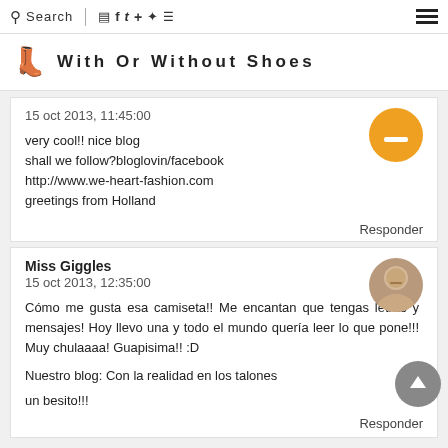Search | [social icons] | [hamburger menu]
With Or Without Shoes
15 oct 2013, 11:45:00

very cool!! nice blog
shall we follow?bloglovin/facebook
http://www.we-heart-fashion.com
greetings from Holland

Responder
Miss Giggles
15 oct 2013, 12:35:00

Cómo me gusta esa camiseta!! Me encantan que tengas letras y mensajes! Hoy llevo una y todo el mundo quería leer lo que pone!!! Muy chulaaaa! Guapisima!! :D

Nuestro blog: Con la realidad en los talones

un besito!!!

Responder